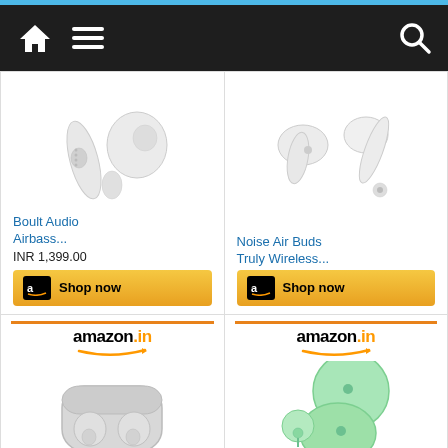[Figure (screenshot): Mobile app navigation bar with home icon, hamburger menu, and search icon on dark background]
[Figure (photo): Boult Audio Airbass truly wireless earbuds in white]
Boult Audio Airbass...
INR 1,399.00
[Figure (logo): Amazon Shop now button]
[Figure (photo): Noise Air Buds Truly Wireless earbuds in white]
Noise Air Buds Truly Wireless...
[Figure (logo): Amazon Shop now button]
[Figure (logo): amazon.in logo with orange arrow]
[Figure (photo): Noise Shots Nuvo True wireless earbuds in grey with charging case]
Noise Shots Nuvo True...
[Figure (logo): amazon.in logo with orange arrow]
[Figure (photo): BOOMAUDIO Shell Truly wireless earbuds in green]
BOOMAUDIO Shell Truly...